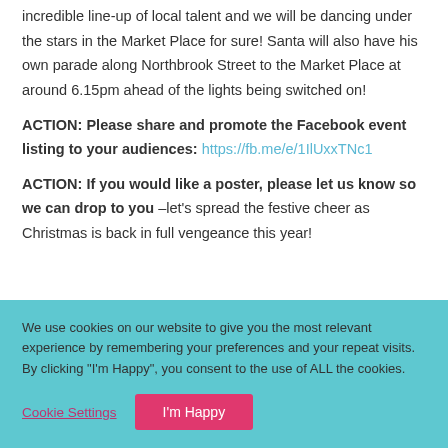incredible line-up of local talent and we will be dancing under the stars in the Market Place for sure! Santa will also have his own parade along Northbrook Street to the Market Place at around 6.15pm ahead of the lights being switched on!
ACTION: Please share and promote the Facebook event listing to your audiences: https://fb.me/e/1IlUxxTNc1
ACTION: If you would like a poster, please let us know so we can drop to you –let's spread the festive cheer as Christmas is back in full vengeance this year!
We use cookies on our website to give you the most relevant experience by remembering your preferences and your repeat visits. By clicking "I'm Happy", you consent to the use of ALL the cookies.